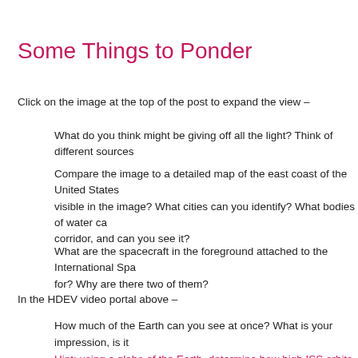Some Things to Ponder
Click on the image at the top of the post to expand the view –
What do you think might be giving off all the light? Think of different sources
Compare the image to a detailed map of the east coast of the United States visible in the image? What cities can you identify? What bodies of water can corridor, and can you see it?
What are the spacecraft in the foreground attached to the International Spa for? Why are there two of them?
In the HDEV video portal above –
How much of the Earth can you see at once? What is your impression, is it Hint: using a globe of the Earth, determine how high ISS orbits the Earth re 8,000 miles in diameter (12,000 km), and ISS orbits an an altitude of about proportion to determine how high above the globe you would need to put a at that height above the globe, close the other eye, and see how much of th
What is the 'horizon'? Can you locate the horizon in the video?